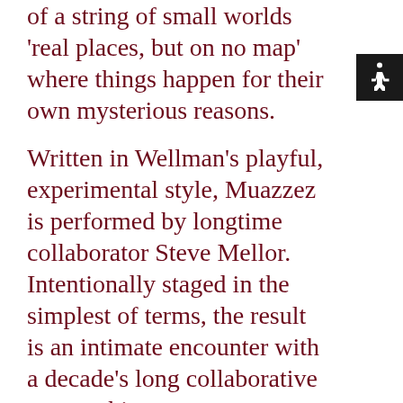of a string of small worlds 'real places, but on no map' where things happen for their own mysterious reasons.
Written in Wellman's playful, experimental style, Muazzez is performed by longtime collaborator Steve Mellor. Intentionally staged in the simplest of terms, the result is an intimate encounter with a decade's long collaborative partnership.
Writer & Director Mac...
[Figure (other): Accessibility icon (wheelchair symbol) in white on black background]